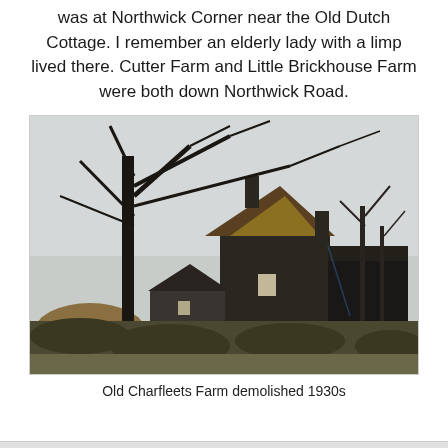was at Northwick Corner near the Old Dutch Cottage. I remember an elderly lady with a limp lived there. Cutter Farm and Little Brickhouse Farm were both down Northwick Road.
[Figure (photo): Black and white photograph of Old Charfleets Farm, a derelict farmhouse with a mossy/rusty roof, bare winter trees silhouetted in the foreground, and overgrown vegetation. Demolished in the 1930s.]
Old Charfleets Farm demolished 1930s